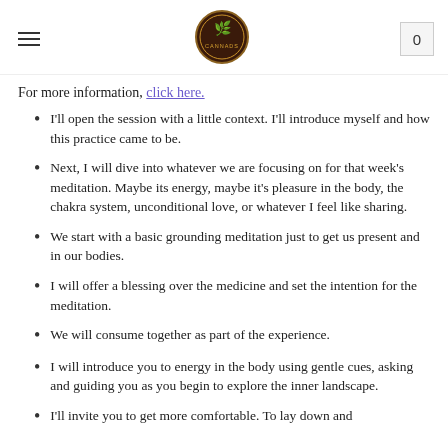Navigation header with hamburger menu, cannabis brand logo, and cart button showing 0
For more information, click here.
I'll open the session with a little context. I'll introduce myself and how this practice came to be.
Next, I will dive into whatever we are focusing on for that week's meditation. Maybe its energy, maybe it's pleasure in the body, the chakra system, unconditional love, or whatever I feel like sharing.
We start with a basic grounding meditation just to get us present and in our bodies.
I will offer a blessing over the medicine and set the intention for the meditation.
We will consume together as part of the experience.
I will introduce you to energy in the body using gentle cues, asking and guiding you as you begin to explore the inner landscape.
I'll invite you to get more comfortable. To lay down and